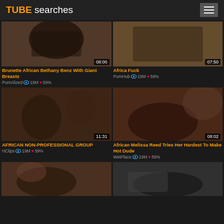TUBE searches
[Figure (screenshot): Video thumbnail for Brunette African Bethany Benz With Giant Breasts, duration 08:00]
Brunette African Bethany Benz With Giant Breasts
PornAlized 👁 19M ♥ 59%
[Figure (screenshot): Video thumbnail for Africa Fuck, duration 07:50]
Africa Fuck
PornHub 👁 19M ♥ 59%
[Figure (screenshot): Video thumbnail for AFRICAN NON-PROFESSIONAL GROUP, duration 11:31]
AFRICAN NON-PROFESSIONAL GROUP
HClips 👁 19M ♥ 59%
[Figure (screenshot): Video thumbnail for African Melissa Reed Tries Her Hardest To Make Hot Dude, duration 08:02]
African Melissa Reed Tries Her Hardest To Make Hot Dude
WetPlace 👁 19M ♥ 59%
[Figure (screenshot): Video thumbnail (bottom left), partially visible]
[Figure (screenshot): Video thumbnail (bottom right), partially visible]